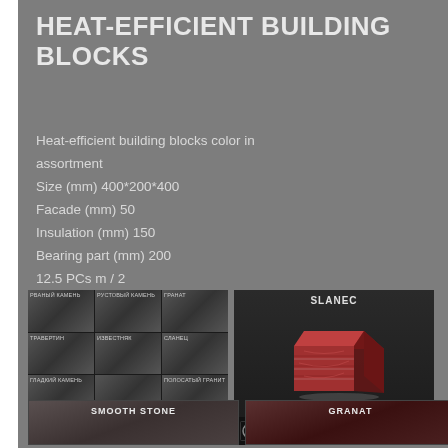HEAT-EFFICIENT BUILDING BLOCKS
Heat-efficient building blocks color in assortment
Size (mm) 400*200*400
Facade (mm) 50
Insulation (mm) 150
Bearing part (mm) 200
12.5 PCs m / 2
PRICE ON REQUEST
[Figure (photo): Grid of 9 texture samples (РВАНЫЙ КАМЕНЬ, РУСТОВЫЙ КАМЕНЬ, ГРАНАТ, ТРАВЕРТИН, ИЗВЕСТНЯК, СЛАНЕЦ, ГЛАДКИЙ КАМЕНЬ, unnamed, ПОЛОСАТЫЙ ГРАНИТ) with Теплоблоки Северо-Запад logo footer]
[Figure (photo): 3D render of a red/maroon SLANEC heat-efficient building block with layered construction visible, Teplobloki North-West logo footer]
[Figure (photo): SMOOTH STONE texture panel - bottom strip]
[Figure (photo): GRANAT texture panel - bottom strip]